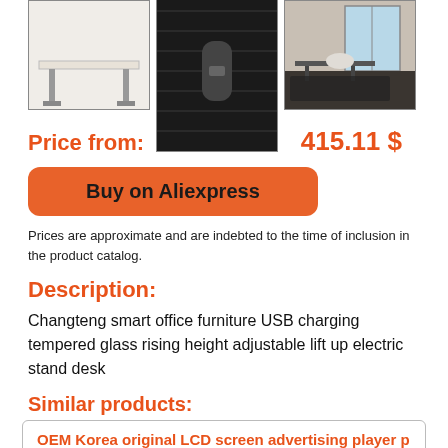[Figure (photo): Three product images of a smart office desk: left image shows desk top surface with legs visible, center image shows close-up of desk leg/frame detail in dark finish, right image shows the desk in a modern office room setting.]
Price from:      415.11 $
Buy on Aliexpress
Prices are approximate and are indebted to the time of inclusion in the product catalog.
Description:
Changteng smart office furniture USB charging tempered glass rising height adjustable lift up electric stand desk
Similar products:
OEM Korea original LCD screen advertising player p